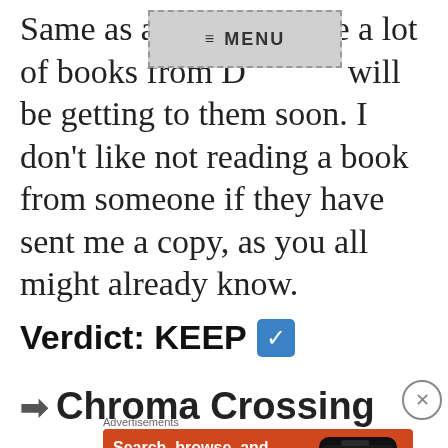Same as above a lot of books from David, and will be getting to them soon. I don't like not reading a book from someone if they have sent me a copy, as you all might already know.
Verdict: KEEP ✅
➡ Chroma Crossing
[Figure (screenshot): DuckDuckGo advertisement banner with orange background. Text: 'Search, browse, and email with more privacy. All in One Free App' with DuckDuckGo logo and phone image.]